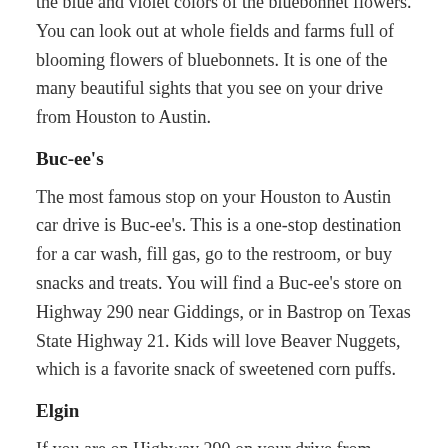the blue and violet colors of the bluebonnet flowers. You can look out at whole fields and farms full of blooming flowers of bluebonnets. It is one of the many beautiful sights that you see on your drive from Houston to Austin.
Buc-ee's
The most famous stop on your Houston to Austin car drive is Buc-ee's. This is a one-stop destination for a car wash, fill gas, go to the restroom, or buy snacks and treats. You will find a Buc-ee's store on Highway 290 near Giddings, or in Bastrop on Texas State Highway 21. Kids will love Beaver Nuggets, which is a favorite snack of sweetened corn puffs.
Elgin
If you are on Highway 290 on your drive from Houston to Austin, then Elgin is the best stop to try BBQ. Texan BBQ restaurants here like Southside Market & Barbecue or Meyer's Elgin Smokehouse BBQ are the best BBQ restaurants that serve the most famous Texan food. You could have veg, meats, fish, steak, pork, chicken bbq